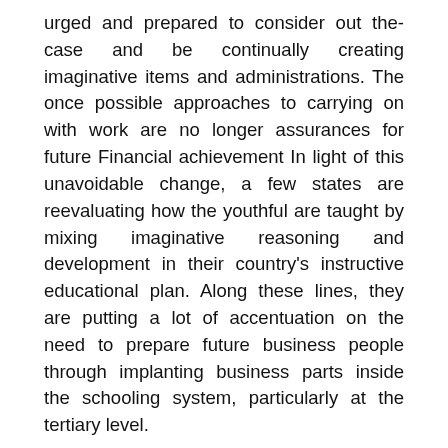urged and prepared to consider out the-case and be continually creating imaginative items and administrations. The once possible approaches to carrying on with work are no longer assurances for future Financial achievement In light of this unavoidable change, a few states are reevaluating how the youthful are taught by mixing imaginative reasoning and development in their country's instructive educational plan. Along these lines, they are putting a lot of accentuation on the need to prepare future business people through implanting business parts inside the schooling system, particularly at the tertiary level.
A few nations have showed this drive to a more elevated level by presenting business venture instruction at grade schools and empowering them to be future business people when they are old enough. In a progression of study financed by